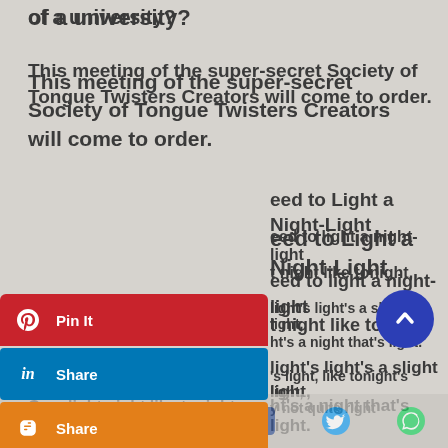of a university?
This meeting of the super-secret Society of Tongue Twisters Creators will come to order.
need to Light a Night-Light
You've no need to light a night-light
On a light night like tonight,
For a night-light's light's a slight light,
And tonight's a night that's light.
When a night's light, like tonight's light,
It is really not quite right
To light night-lights with their slight lights
On a light night like tonight.
by Author Unknown